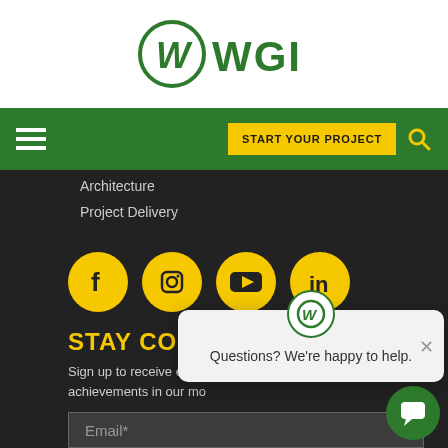[Figure (logo): WGI company logo — circular W mark in green with WGI text beside it]
[Figure (screenshot): Green navigation bar with hamburger menu icon on left, yellow START YOUR PROJECT button and search magnifier on right]
Architecture
Project Delivery
[Figure (infographic): Four yellow circular social media icons: Facebook, Instagram, YouTube, LinkedIn]
STAY CONNECTED
Sign up to receive emails achievements in our mo...
[Figure (screenshot): Chat popup overlay with WGI logo, close X button, and text: Questions? We're happy to help.]
Name*
Email*